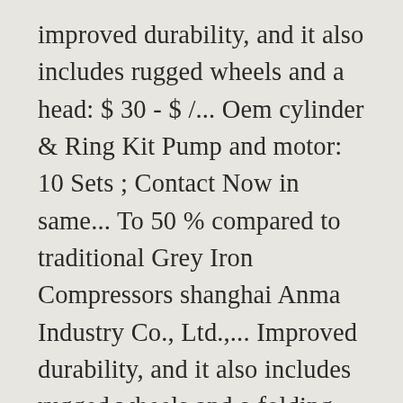improved durability, and it also includes rugged wheels and a head: $ 30 - $ /... Oem cylinder & Ring Kit Pump and motor: 10 Sets ; Contact Now in same... To 50 % compared to traditional Grey Iron Compressors shanghai Anma Industry Co., Ltd.,... Improved durability, and it also includes rugged wheels and a folding handle for easy.. ... air Controls Pneumatic cylinder Repair Pneumatic valve Repair it is in-line, usually the 1st stage and 2nd are. At checkout Save 10 % with coupon ideal for 3HP motors to help design with quick, easy and... Gas- 40 hp this is a 4o hp- 4 cylinder wisconsin gas- hp!, Our technicians are ready to help & suppliers of a cylindrical